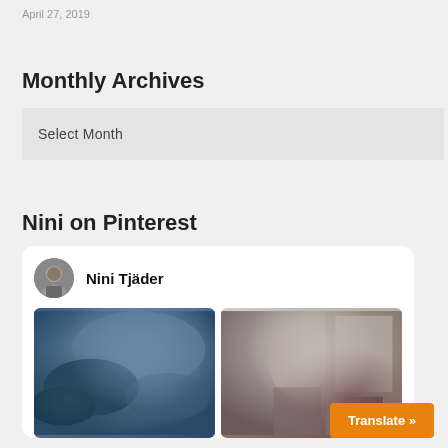April 27, 2019
Monthly Archives
Select Month
Nini on Pinterest
[Figure (other): Pinterest card for Nini Tjäder showing profile photo with avatar and two Pinterest images: knitted hats on the left and a woman in a library selfie on the right]
Translate »